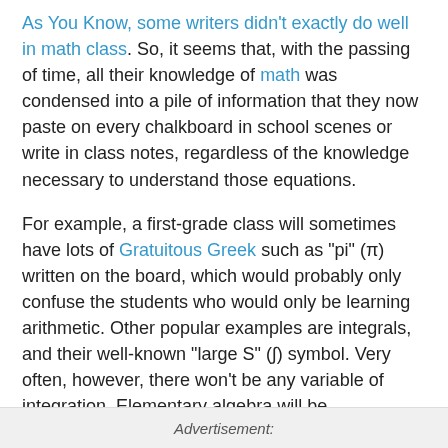As You Know, some writers didn't exactly do well in math class. So, it seems that, with the passing of time, all their knowledge of math was condensed into a pile of information that they now paste on every chalkboard in school scenes or write in class notes, regardless of the knowledge necessary to understand those equations.
For example, a first-grade class will sometimes have lots of Gratuitous Greek such as "pi" (π) written on the board, which would probably only confuse the students who would only be learning arithmetic. Other popular examples are integrals, and their well-known "large S" (∫) symbol. Very often, however, there won't be any variable of integration. Elementary algebra will be represented as something like "x + y = z", which is entirely meaningless without a description of what the variables represent or how they relate to each other.
Advertisement: